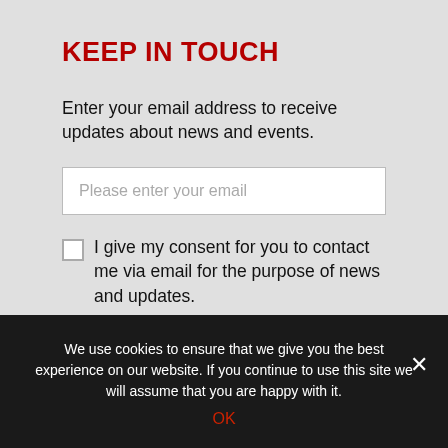KEEP IN TOUCH
Enter your email address to receive updates about news and events.
Please enter your email
I give my consent for you to contact me via email for the purpose of news and updates.
SUBSCRIBE
We use cookies to ensure that we give you the best experience on our website. If you continue to use this site we will assume that you are happy with it.
OK